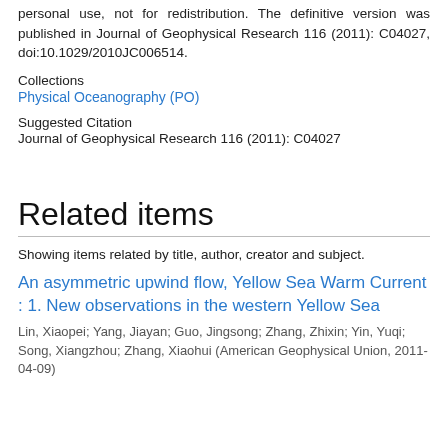personal use, not for redistribution. The definitive version was published in Journal of Geophysical Research 116 (2011): C04027, doi:10.1029/2010JC006514.
Collections
Physical Oceanography (PO)
Suggested Citation
Journal of Geophysical Research 116 (2011): C04027
Related items
Showing items related by title, author, creator and subject.
An asymmetric upwind flow, Yellow Sea Warm Current : 1. New observations in the western Yellow Sea
Lin, Xiaopei; Yang, Jiayan; Guo, Jingsong; Zhang, Zhixin; Yin, Yuqi; Song, Xiangzhou; Zhang, Xiaohui (American Geophysical Union, 2011-04-09)